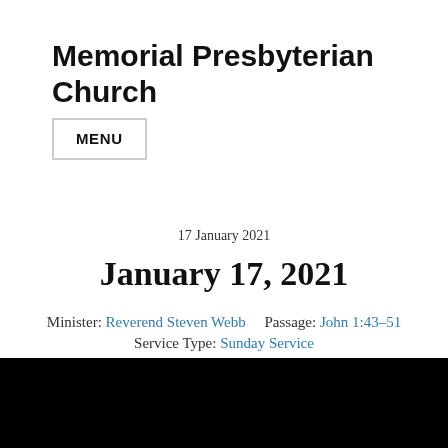Memorial Presbyterian Church
MENU
17 January 2021
January 17, 2021
Minister: Reverend Steven Webb     Passage: John 1:43–51
Service Type: Sunday Service